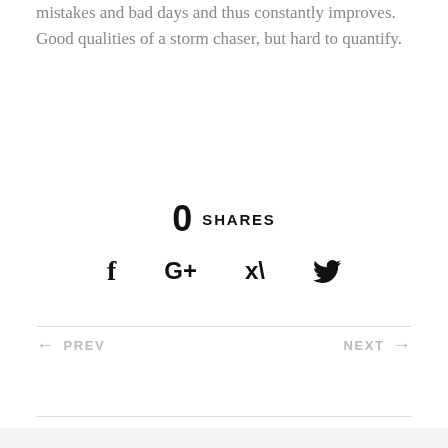mistakes and bad days and thus constantly improves. Good qualities of a storm chaser, but hard to quantify.
0 SHARES
[Figure (infographic): Social share icons: Facebook (f), Google+ (G+), Twitter (bird icon)]
← PREV    NEXT →